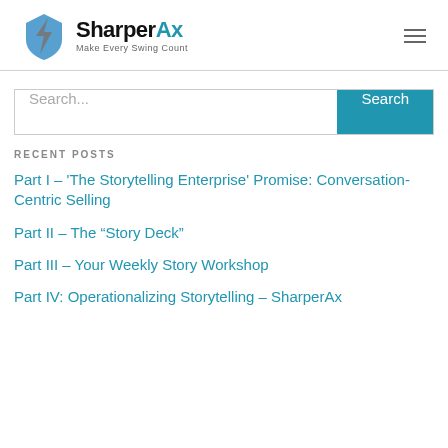SharperAx — Make Every Swing Count
Search...
RECENT POSTS
Part I – ‘The Storytelling Enterprise’ Promise: Conversation-Centric Selling
Part II – The “Story Deck”
Part III – Your Weekly Story Workshop
Part IV: Operationalizing Storytelling – SharperAx